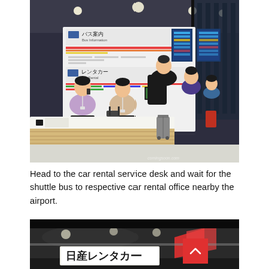[Figure (photo): Interior of an airport car rental and bus information service desk. Two female staff members in uniform are behind the counter, assisting customers with luggage. Signage in Japanese shows 'Bus Information' and 'Car Rental'. Digital display screens and information boards are visible on the back wall. Watermark reads 'comingsoon.com'.]
Head to the car rental service desk and wait for the shuttle bus to respective car rental office nearby the airport.
[Figure (photo): Close-up of a car with a Japanese car rental sign (日産レンタカー / Nissan Rent-A-Car) visible. Red and dark tones dominate the image.]